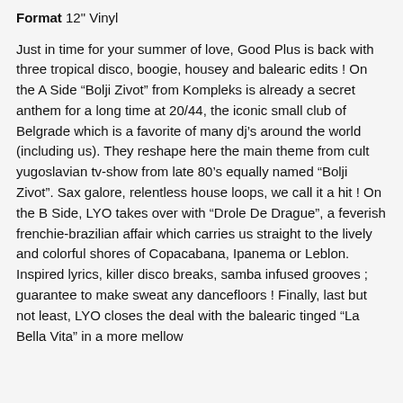Format 12" Vinyl
Just in time for your summer of love, Good Plus is back with three tropical disco, boogie, housey and balearic edits ! On the A Side “Bolji Zivot” from Kompleks is already a secret anthem for a long time at 20/44, the iconic small club of Belgrade which is a favorite of many dj’s around the world (including us). They reshape here the main theme from cult yugoslavian tv-show from late 80’s equally named “Bolji Zivot”. Sax galore, relentless house loops, we call it a hit ! On the B Side, LYO takes over with “Drole De Drague”, a feverish frenchie-brazilian affair which carries us straight to the lively and colorful shores of Copacabana, Ipanema or Leblon. Inspired lyrics, killer disco breaks, samba infused grooves ; guarantee to make sweat any dancefloors ! Finally, last but not least, LYO closes the deal with the balearic tinged “La Bella Vita” in a more mellow